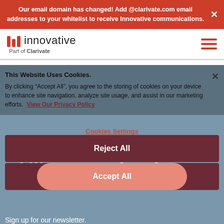Our email domain has changed! Add @clarivate.com email addresses to your whitelist to receive Innovative communications.
[Figure (logo): Innovative, Part of Clarivate logo with three red vertical bars and hamburger menu icon]
This Website Uses Cookies.
By clicking “Accept All”, you agree to the storing of cookies on your device to enhance site navigation, analyze site usage, and assist in our marketing efforts. View Our Privacy Policy
Stay on the forefront of library technology
Sign up for our newsletter.
Cookies Settings
Reject All
Sign Up Today
Accept All